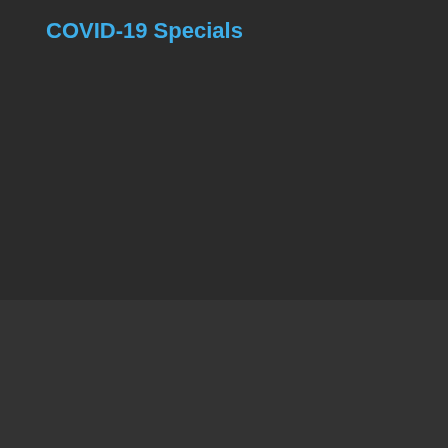COVID-19 Specials
Copyright © All Rights Reserved 2019-2020
onlinetoolsexpert.com
Disclaimer: As an Amazon Associate I earn from qualifying purchases. OnlineToolsExpert.com is a